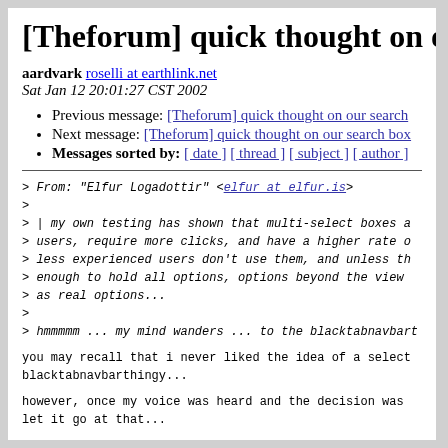[Theforum] quick thought on o
aardvark roselli at earthlink.net
Sat Jan 12 20:01:27 CST 2002
Previous message: [Theforum] quick thought on our search
Next message: [Theforum] quick thought on our search box
Messages sorted by: [ date ] [ thread ] [ subject ] [ author ]
> From: "Elfur Logadottir" <elfur at elfur.is>
>
> | my own testing has shown that multi-select boxes a
> users, require more clicks, and have a higher rate o
> less experienced users don't use them, and unless th
> enough to hold all options, options beyond the view
> as real options...
>
> hmmmmm ... my mind wanders ... to the blacktabnavbart
you may recall that i never liked the idea of a select
blacktabnavbarthingy...
however, once my voice was heard and the decision was
let it go at that...